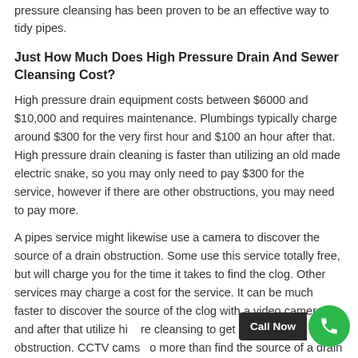pressure cleansing has been proven to be an effective way to tidy pipes.
Just How Much Does High Pressure Drain And Sewer Cleansing Cost?
High pressure drain equipment costs between $6000 and $10,000 and requires maintenance. Plumbings typically charge around $300 for the very first hour and $100 an hour after that. High pressure drain cleaning is faster than utilizing an old made electric snake, so you may only need to pay $300 for the service, however if there are other obstructions, you may need to pay more.
A pipes service might likewise use a camera to discover the source of a drain obstruction. Some use this service totally free, but will charge you for the time it takes to find the clog. Other services may charge a cost for the service. It can be much faster to discover the source of the clog with a video camera and after that utilize hi re cleansing to get rid of the obstruction. CCTV cams o more than find the source of a drain blockage. They can